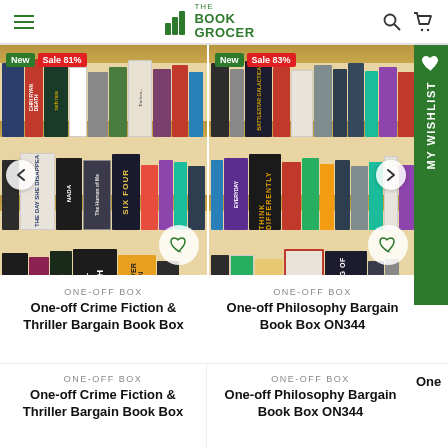THE BOOK GROCER
[Figure (photo): Product card for One-off Crime Fiction & Thriller Bargain Book Box showing bookshelf with books including Saint Death, Six Four, NADA, Chris Ryan Death, Jeffery Deaver. Badges: New, Sale 81%.]
[Figure (photo): Product card for One-off Philosophy Bargain Book Box ON344 showing bookshelf with books including Think Differently, The Age of Violence, The Meaning of Science, Battlestar Galactica. Badges: New, Sale 83%.]
ONE-OFF BOX
One-off Crime Fiction & Thriller Bargain Book Box
ONE-OFF BOX
One-off Philosophy Bargain Book Box ON344
One